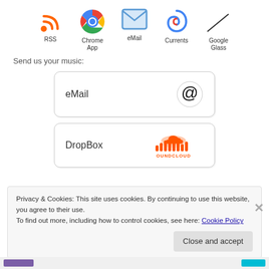[Figure (illustration): Row of five service icons: RSS (orange wifi-like icon), Chrome App (colorful Chrome logo), eMail (blue envelope), Currents (colorful swirl), Google Glass (outlined glasses shape), each with label beneath]
Send us your music:
[Figure (illustration): eMail button with @ symbol icon on the right]
[Figure (illustration): DropBox button with SoundCloud orange cloud logo on the right]
Privacy & Cookies: This site uses cookies. By continuing to use this website, you agree to their use.
To find out more, including how to control cookies, see here: Cookie Policy
Close and accept